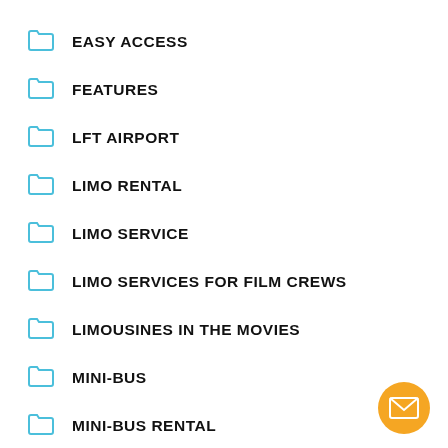EASY ACCESS
FEATURES
LFT AIRPORT
LIMO RENTAL
LIMO SERVICE
LIMO SERVICES FOR FILM CREWS
LIMOUSINES IN THE MOVIES
MINI-BUS
MINI-BUS RENTAL
MSY AIRPORT
NEW ORLEANS LIMOUSINE